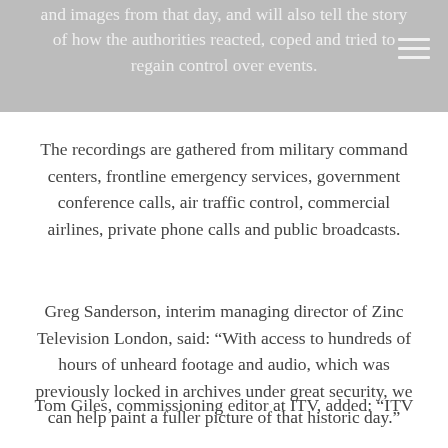and images from that day, and will also tell the story of how the authorities reacted, coped and tried to regain control over events.
The recordings are gathered from military command centers, frontline emergency services, government conference calls, air traffic control, commercial airlines, private phone calls and public broadcasts.
Greg Sanderson, interim managing director of Zinc Television London, said: “With access to hundreds of hours of unheard footage and audio, which was previously locked in archives under great security, we can help paint a fuller picture of that historic day.”
Tom Giles, commissioning editor at ITV, added: “ITV